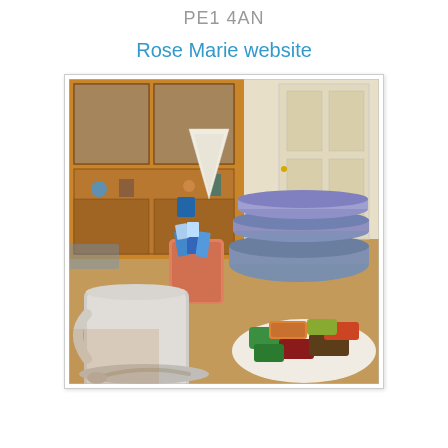PE1 4AN
Rose Marie website
[Figure (photo): A dining table set with mugs, bowls stacked, a cup holding sugar packets or candies, a plate with decorated cookies in green, orange and other colors, and a napkin folded upright. In the background is a wooden hutch/cabinet and a white door.]